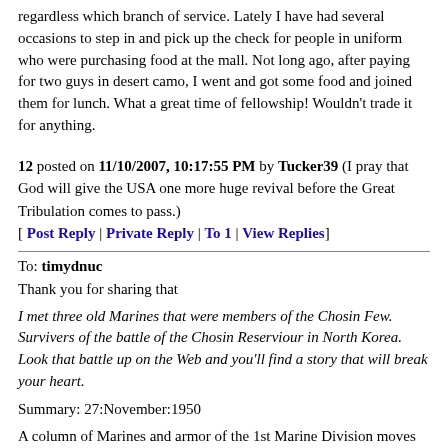regardless which branch of service. Lately I have had several occasions to step in and pick up the check for people in uniform who were purchasing food at the mall. Not long ago, after paying for two guys in desert camo, I went and got some food and joined them for lunch. What a great time of fellowship! Wouldn't trade it for anything.
12 posted on 11/10/2007, 10:17:55 PM by Tucker39 (I pray that God will give the USA one more huge revival before the Great Tribulation comes to pass.)
[ Post Reply | Private Reply | To 1 | View Replies]
To: timydnuc
Thank you for sharing that
I met three old Marines that were members of the Chosin Few. Survivers of the battle of the Chosin Reserviour in North Korea. Look that battle up on the Web and you'll find a story that will break your heart.
Summary: 27:November:1950
A column of Marines and armor of the 1st Marine Division moves through Communist Chinese lines during the escape of bloody...